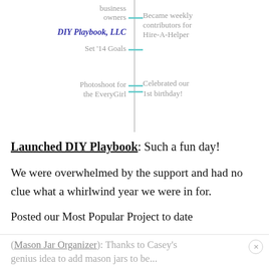[Figure (infographic): Vertical timeline with teal tick marks. Left side: 'business owners', 'DIY Playbook, LLC' (bold italic dark blue), 'Set '14 Goals', 'Photoshoot for the EveryGirl'. Right side: 'Became weekly contributors for Hire-A-Helper', 'Celebrated our 1st birthday!']
Launched DIY Playbook: Such a fun day! We were overwhelmed by the support and had no clue what a whirlwind year we were in for.
Posted our Most Popular Project to date
(Mason Jar Organizer): Thanks to Casey's genius idea to add mason jars to be...